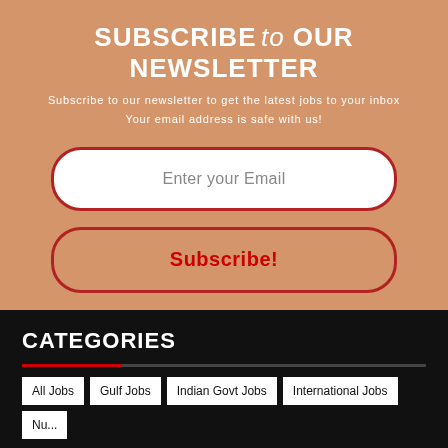SUBSCRIBE to OUR NEWSLETTER
Subscribe to our newsletter to get the latest jobs to your inbox
Your email address is safe with us!
[Figure (other): Email input field with placeholder text 'Enter your Email' and a Subscribe! button, both with rounded rectangle borders in red]
CATEGORIES
All Jobs
Gulf Jobs
Indian Govt Jobs
International Jobs